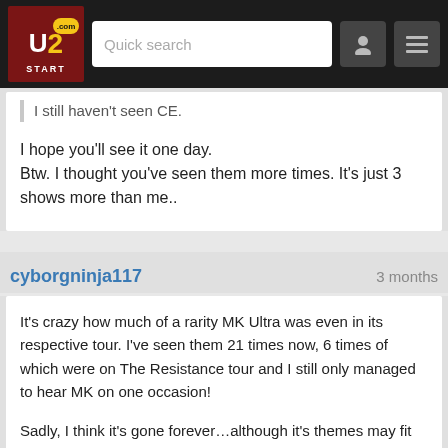[Figure (screenshot): U2Start.com navigation bar with logo, search box, and menu icons]
I still haven't seen CE.
I hope you'll see it one day.
Btw. I thought you've seen them more times. It's just 3 shows more than me..
cyborgninja117
3 months
It's crazy how much of a rarity MK Ultra was even in its respective tour. I've seen them 21 times now, 6 times of which were on The Resistance tour and I still only managed to hear MK on one occasion!

Sadly, I think it's gone forever…although it's themes may fit well with the 'feel' of the upcoming album/tour. If Assassin can make a comeback, hopefully MK can rise from the ashes.